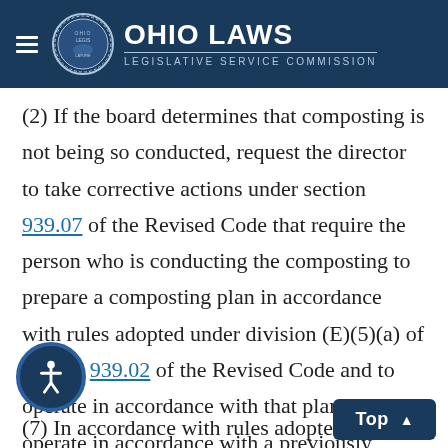Ohio Laws Legislative Service Commission
(2) If the board determines that composting is not being so conducted, request the director to take corrective actions under section 939.07 of the Revised Code that require the person who is conducting the composting to prepare a composting plan in accordance with rules adopted under division (E)(5)(a) of section 939.02 of the Revised Code and to operate in accordance with that plan or to operate in accordance with a previously prepared plan, if applicable;
(7) In accordance with rules adopted under division